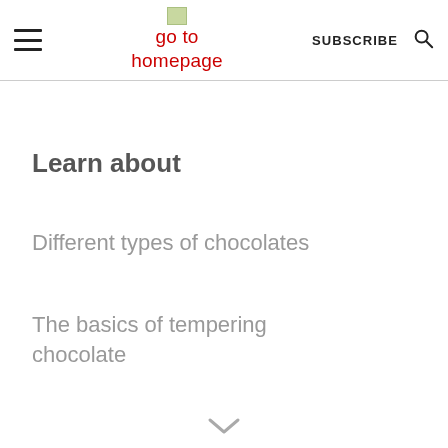go to homepage | SUBSCRIBE
Learn about
Different types of chocolates
The basics of tempering chocolate